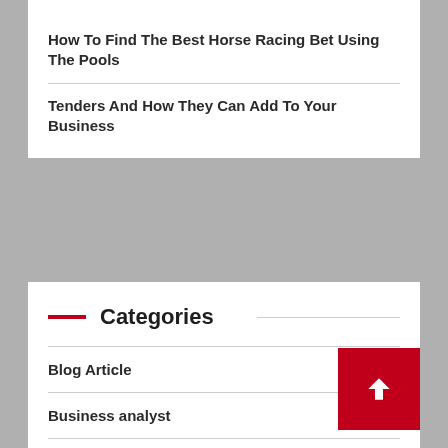How To Find The Best Horse Racing Bet Using The Pools
Tenders And How They Can Add To Your Business
Categories
Blog Article
Business analyst
Business insider
Business insurance
Business leadership
Business management